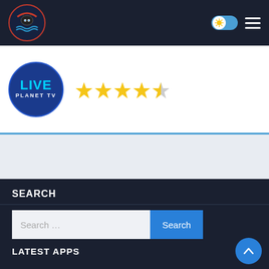[Figure (screenshot): Top navigation bar with circular logo, sun/toggle icon, and hamburger menu on dark background]
[Figure (logo): Live Planet TV circular app logo with blue background and star rating (4.5 stars) on white background]
[Figure (screenshot): Light gray advertisement/content placeholder section]
SEARCH
[Figure (screenshot): Search input field with placeholder 'Search ...' and blue Search button]
LATEST APPS